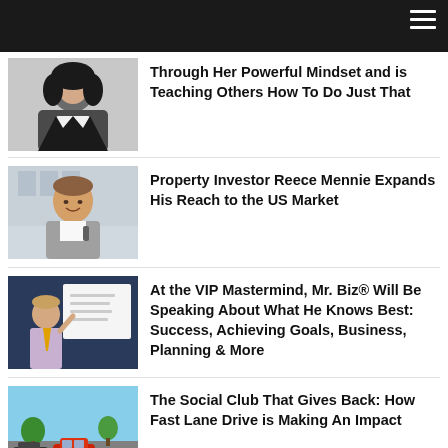[Figure (photo): Portrait photo of a woman with long dark curly hair wearing a black blazer]
Through Her Powerful Mindset and is Teaching Others How To Do Just That
[Figure (photo): Photo of a smiling man in a grey blazer holding something]
Property Investor Reece Mennie Expands His Reach to the US Market
[Figure (photo): Photo of a man presenting in front of a whiteboard at a VIP mastermind event]
At the VIP Mastermind, Mr. Biz® Will Be Speaking About What He Knows Best: Success, Achieving Goals, Business, Planning & More
[Figure (photo): Photo of luxury sports cars on a road at Fast Lane Drive event]
The Social Club That Gives Back: How Fast Lane Drive is Making An Impact